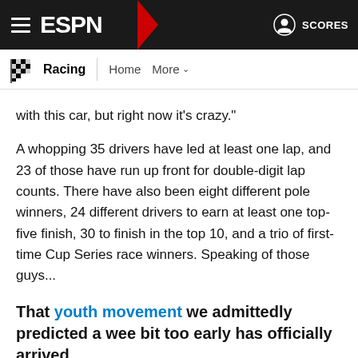ESPN — Racing | Home | More | SCORES
with this car, but right now it's crazy."
A whopping 35 drivers have led at least one lap, and 23 of those have run up front for double-digit lap counts. There have also been eight different pole winners, 24 different drivers to earn at least one top-five finish, 30 to finish in the top 10, and a trio of first-time Cup Series race winners. Speaking of those guys...
That youth movement we admittedly predicted a wee bit too early has officially arrived
Those three first-time winners -- Chastain, Phoenix victor Chase Briscoe and Daytona 500 stunner Austin Cindric -- are all under 30, and they have a lot of company. More than half of